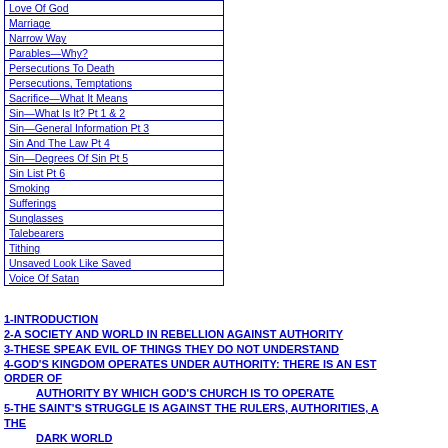| Love Of God |
| Marriage |
| Narrow Way |
| Parables—Why? |
| Persecutions To Death |
| Persecutions, Temptations |
| Sacrifice—What It Means |
| Sin—What Is It? Pt 1 & 2 |
| Sin—General Information Pt 3 |
| Sin And The Law Pt 4 |
| Sin—Degrees Of Sin Pt 5 |
| Sin List Pt 6 |
| Smoking |
| Sufferings |
| Sunglasses |
| Talebearers |
| Tithing |
| Unsaved Look Like Saved |
| Voice Of Satan |
1-INTRODUCTION
2-A SOCIETY AND WORLD IN REBELLION AGAINST AUTHORITY
3-THESE SPEAK EVIL OF THINGS THEY DO NOT UNDERSTAND
4-GOD'S KINGDOM OPERATES UNDER AUTHORITY: THERE IS AN ESTABLISHED ORDER OF AUTHORITY BY WHICH GOD'S CHURCH IS TO OPERATE
5-THE SAINT'S STRUGGLE IS AGAINST THE RULERS, AUTHORITIES, AND THE DARK WORLD
6-GOD COMMANDS, BE SUBJECT UNTO THE HIGHER POWERS (OR AU